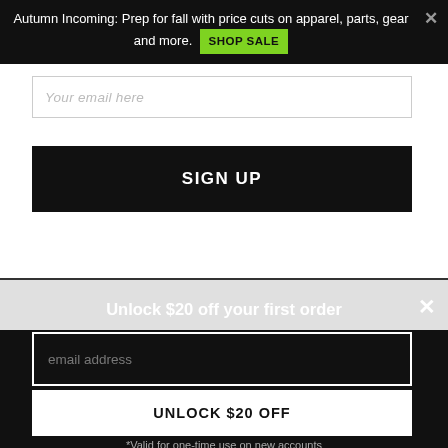Autumn Incoming: Prep for fall with price cuts on apparel, parts, gear and more. SHOP SALE
[Figure (screenshot): Email input field with placeholder text 'Your email here']
SIGN UP
Unlock $20 off your first order
[Figure (screenshot): Email input field with placeholder text 'email address' on dark background]
UNLOCK $20 OFF
*Valid for one-time use on new accounts